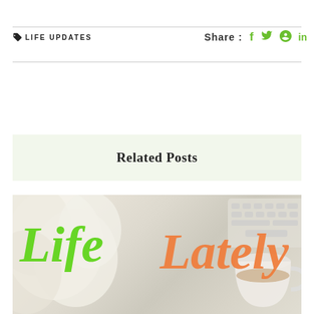LIFE UPDATES
Share : f  t  p  in
Related Posts
[Figure (photo): Blog post thumbnail showing white flowers, a keyboard, and a coffee cup with decorative script text reading 'Life Lately' in green and orange cursive lettering]